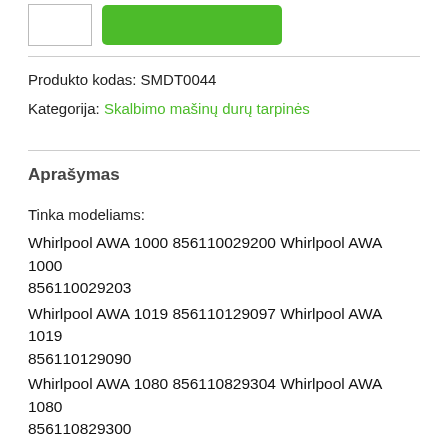Produkto kodas: SMDT0044
Kategorija: Skalbimo mašinų durų tarpinės
Aprašymas
Tinka modeliams:
Whirlpool AWA 1000 856110029200 Whirlpool AWA 1000 856110029203
Whirlpool AWA 1019 856110129097 Whirlpool AWA 1019 856110129090
Whirlpool AWA 1080 856110829304 Whirlpool AWA 1080 856110829300
Whirlpool AWA 1080 856110829303 Whirlpool AWA 1084 856110829240
Whirlpool AWA 1084 856110829243 Whirlpool AWA 5018